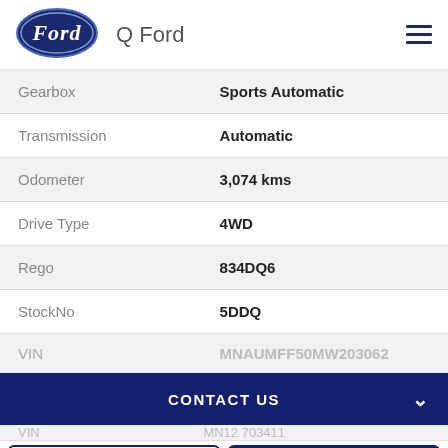[Figure (logo): Ford oval logo in dark navy blue with white Ford script lettering]
Q Ford
| Gearbox | Sports Automatic |
| Transmission | Automatic |
| Odometer | 3,074 kms |
| Drive Type | 4WD |
| Rego | 834DQ6 |
| StockNo | 5DDQ |
| VIN | MNAUMFF50MW203062 |
CONTACT US
FINANCE THIS VEHICLE
PLACE DEPOSIT